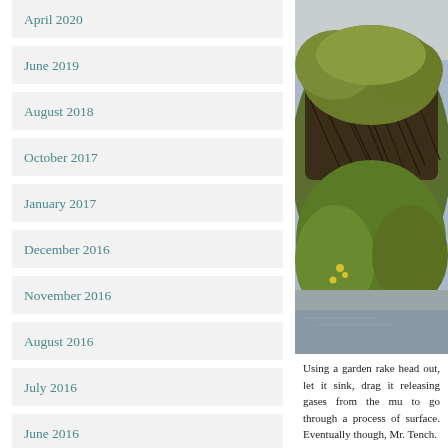April 2020
June 2019
August 2018
October 2017
January 2017
December 2016
November 2016
August 2016
July 2016
June 2016
May 2016
March 2016
[Figure (photo): A pile of pond weed / aquatic vegetation dredged from a pond, showing dark tangled roots and green growth on a wet surface.]
Using a garden rake head out, let it sink, drag it releasing gases from the mu to go through a process of surface. Eventually though, Mr. Tench.